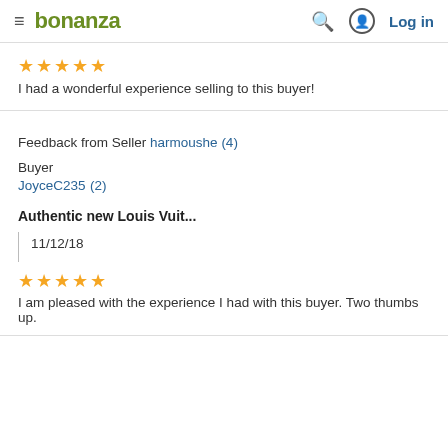bonanza  Log in
★★★★★
I had a wonderful experience selling to this buyer!
Feedback from Seller harmoushe (4)
Buyer
JoyceC235 (2)
Authentic new Louis Vuit...
11/12/18
★★★★★
I am pleased with the experience I had with this buyer. Two thumbs up.